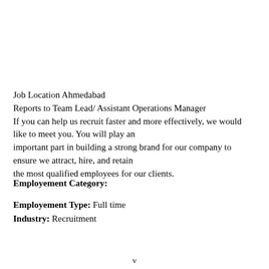Job Location Ahmedabad
Reports to Team Lead/ Assistant Operations Manager
If you can help us recruit faster and more effectively, we would like to meet you. You will play an important part in building a strong brand for our company to ensure we attract, hire, and retain the most qualified employees for our clients.
Employement Category:
Employement Type: Full time
Industry: Recruitment
v